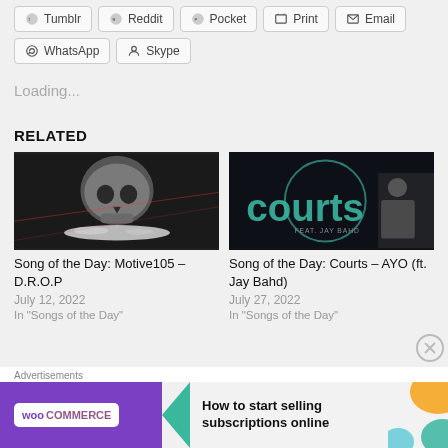[Figure (screenshot): Social share buttons row 1: Tumblr, Reddit, Pocket, Print, Email]
[Figure (screenshot): Social share buttons row 2: WhatsApp, Skype]
Loading...
RELATED
[Figure (photo): Black and white photo of a skull with white powder/crystals]
Song of the Day: Motive105 – D.R.O.P
July 12, 2022
In "Songs of the Day"
[Figure (photo): Courts album art with teal text on dark background, feat. Jay Bahd]
Song of the Day: Courts – AYO (ft. Jay Bahd)
July 27, 2022
In "Songs of the Day"
Advertisements
[Figure (screenshot): WooCommerce advertisement: How to start selling subscriptions online]